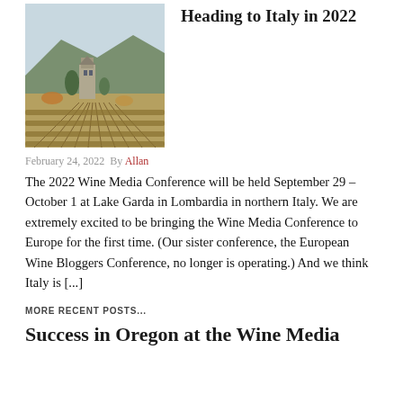[Figure (photo): Aerial view of vineyard rows with a stone tower/building in the background, autumn foliage, northern Italy landscape]
Heading to Italy in 2022
February 24, 2022 By Allan
The 2022 Wine Media Conference will be held September 29 – October 1 at Lake Garda in Lombardia in northern Italy. We are extremely excited to be bringing the Wine Media Conference to Europe for the first time. (Our sister conference, the European Wine Bloggers Conference, no longer is operating.) And we think Italy is [...]
MORE RECENT POSTS...
Success in Oregon at the Wine Media